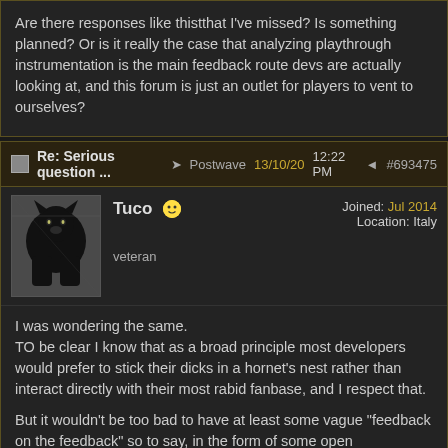Are there responses like thistthat I've missed? Is something planned? Or is it really the case that analyzing playthrough instrumentation is the main feedback route devs are actually looking at, and this forum is just an outlet for players to vent to ourselves?
Re: Serious question ... → Postwave 13/10/20 12:22 PM ◁ #693475
Tuco veteran Joined: Jul 2014 Location: Italy
I was wondering the same.
TO be clear I know that as a broad principle most developers would prefer to stick their dicks in a hornet's nest rather than interact directly with their most rabid fanbase, and I respect that.

But it wouldn't be too bad to have at least some vague "feedback on the feedback" so to say, in the form of some open letter/sticked post among the lines of "Dear fans, we are listening. Here's the things we are currently looking into based on your feedback".

It would also spare a lot of pointless debate here if they were explicit about things.
Imagine for instance if they openly said "No, guys, a six-men party is completely out of the question and it WILL NEVER HAPPEN".